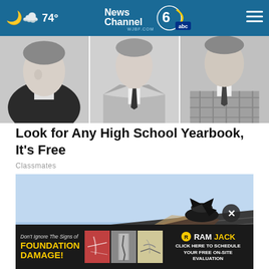74° News Channel 6 abc WJBF.COM
[Figure (photo): Three black and white yearbook-style portrait photos of men in suits and ties, cropped at torso level]
Look for Any High School Yearbook, It's Free
Classmates
[Figure (photo): Photo of a damaged roof with shingles torn up and a rooftop vent, against a blue sky]
[Figure (advertisement): Ram Jack foundation damage advertisement: Don't Ignore The Signs of FOUNDATION DAMAGE! Click here to schedule your free on-site evaluation, with three images of foundation damage]